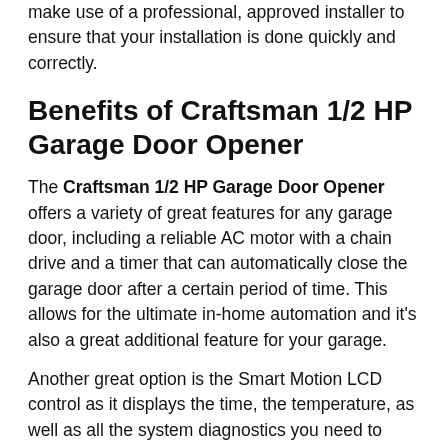make use of a professional, approved installer to ensure that your installation is done quickly and correctly.
Benefits of Craftsman 1/2 HP Garage Door Opener
The Craftsman 1/2 HP Garage Door Opener offers a variety of great features for any garage door, including a reliable AC motor with a chain drive and a timer that can automatically close the garage door after a certain period of time. This allows for the ultimate in-home automation and it's also a great additional feature for your garage.
Another great option is the Smart Motion LCD control as it displays the time, the temperature, as well as all the system diagnostics you need to know about. This Smart Motion LCD will also